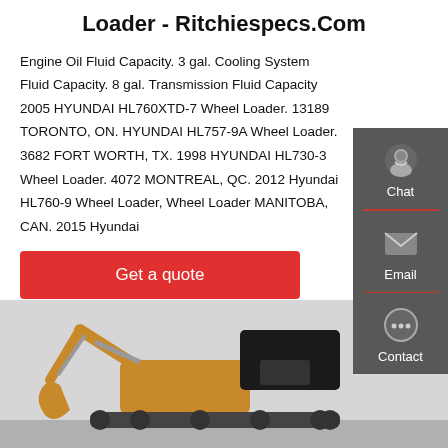Loader - Ritchiespecs.Com
Engine Oil Fluid Capacity. 3 gal. Cooling System Fluid Capacity. 8 gal. Transmission Fluid Capacity 2005 HYUNDAI HL760XTD-7 Wheel Loader. 13189 TORONTO, ON. HYUNDAI HL757-9A Wheel Loader. 3682 FORT WORTH, TX. 1998 HYUNDAI HL730-3 Wheel Loader. 4072 MONTREAL, QC. 2012 Hyundai HL760-9 Wheel Loader, Wheel Loader MANITOBA, CAN. 2015 Hyundai
[Figure (other): Get a quote red button]
[Figure (photo): Photo of a yellow mini excavator with black canopy roof]